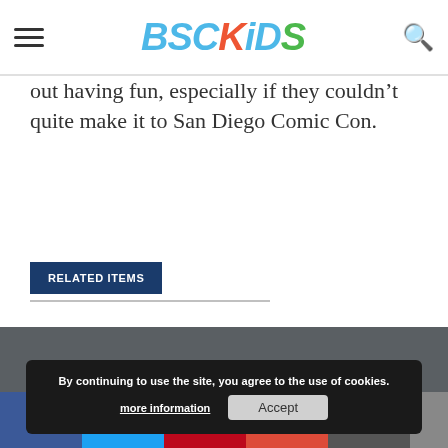BSCKiDS
out having fun, especially if they couldn't quite make it to San Diego Comic Con.
RELATED ITEMS
[Figure (screenshot): Gray background footer area of a website]
By continuing to use the site, you agree to the use of cookies. more information
Facebook, Twitter, Pinterest, Google+, Comment share buttons